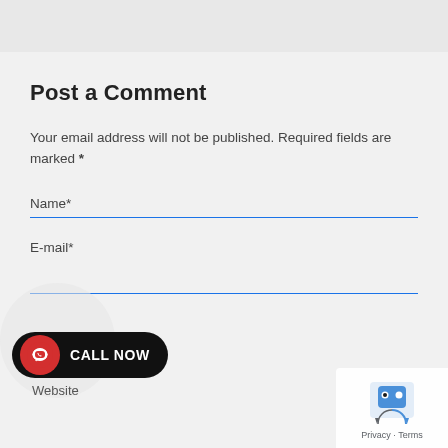Post a Comment
Your email address will not be published. Required fields are marked *
Name*
E-mail*
[Figure (other): CALL NOW button with WhatsApp-style phone icon on red circle background, black pill-shaped button]
Website
[Figure (other): Google reCAPTCHA badge with robot icon and Privacy · Terms links]